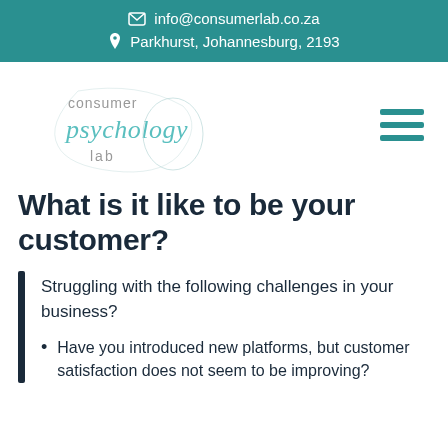info@consumerlab.co.za  Parkhurst, Johannesburg, 2193
[Figure (logo): Consumer Psychology Lab logo — stylized script text reading 'consumer psychology lab' in teal/grey tones]
What is it like to be your customer?
Struggling with the following challenges in your business?
Have you introduced new platforms, but customer satisfaction does not seem to be improving?